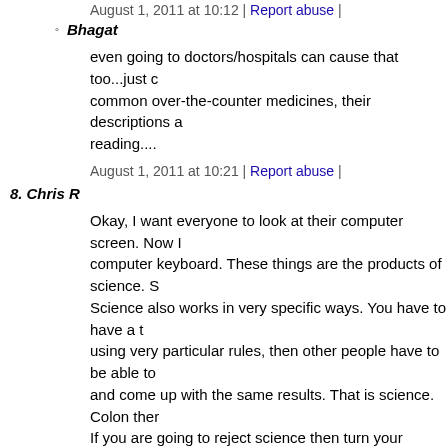August 1, 2011 at 10:12 | Report abuse |
Bhagat
even going to doctors/hospitals can cause that too...just common over-the-counter medicines, their descriptions a reading....
August 1, 2011 at 10:21 | Report abuse |
8. Chris R
Okay, I want everyone to look at their computer screen. Now I computer keyboard. These things are the products of science. S Science also works in very specific ways. You have to have a t using very particular rules, then other people have to be able to and come up with the same results. That is science. Colon ther If you are going to reject science then turn your computer off a don't deserve to make use of the fruits of science.
August 1, 2011 at 09:03 | Report abuse | Reply
enjoy the fruits
you are just plain dumb
August 1, 2011 at 09:58 | Report abuse |
Hey Dumbfvck